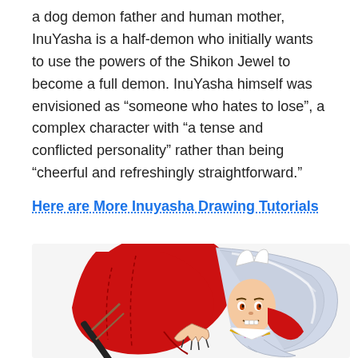a dog demon father and human mother, InuYasha is a half-demon who initially wants to use the powers of the Shikon Jewel to become a full demon. InuYasha himself was envisioned as “someone who hates to lose”, a complex character with “a tense and conflicted personality” rather than being “cheerful and refreshingly straightforward.”
Here are More Inuyasha Drawing Tutorials
[Figure (illustration): Anime illustration of InuYasha in a red robe, crouching with white hair, holding a sword (Tessaiga), ready to fight.]